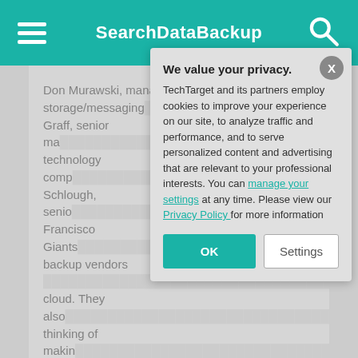SearchDataBackup
Don Murawski, manager of server and storage/messaging at ... Graff, senior manager at ... technology company ... Schlough, senior ... Francisco Giants ... backup vendors ... cloud. They also ... thinking of making ...
All three customers ... their backups to ... costs and simpli...
[Figure (screenshot): Privacy consent modal dialog with title 'We value your privacy.' and body text about TechTarget cookies, with links to manage settings and Privacy Policy, and OK and Settings buttons.]